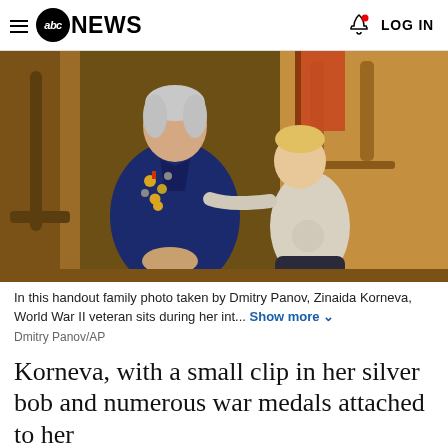abc NEWS  LOG IN
[Figure (photo): An elderly woman in a navy blue jacket covered with war medals sits beside a young toddler boy in a warm wooden interior room. The boy reaches out to touch one of her medals. An orange/red flag is partially visible in the background.]
In this handout family photo taken by Dmitry Panov, Zinaida Korneva, World War II veteran sits during her int... Show more
Dmitry Panov/AP
Korneva, with a small clip in her silver bob and numerous war medals attached to her